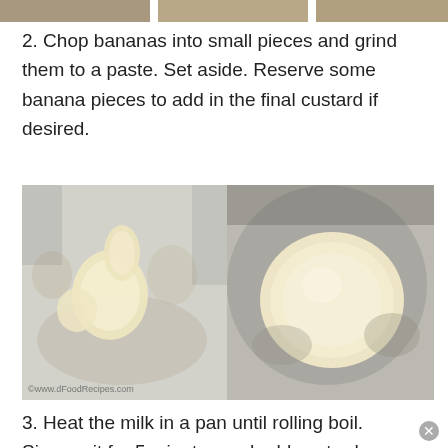[Figure (photo): Top strip showing partial food preparation images]
2. Chop bananas into small pieces and grind them to a paste. Set aside. Reserve some banana pieces to add in the final custard if desired.
[Figure (photo): Two side-by-side photos showing ground banana paste preparation steps. Left image shows small banana chunks, right image shows banana paste. Watermark: ©www.dFoodRecipes.com]
3. Heat the milk in a pan until rolling boil. Simmer it for 5 minutes and add custard powder mix little by little. Mix well.